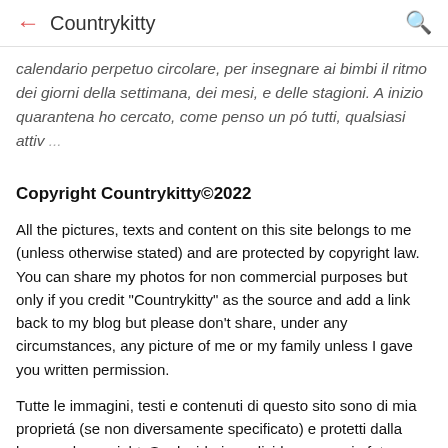← Countrykitty 🔍
calendario perpetuo circolare, per insegnare ai bimbi il ritmo dei giorni della settimana, dei mesi, e delle stagioni. A inizio quarantena ho cercato, come penso un pó tutti, qualsiasi attiv ...
Copyright Countrykitty©2022
All the pictures, texts and content on this site belongs to me (unless otherwise stated) and are protected by copyright law. You can share my photos for non commercial purposes but only if you credit "Countrykitty" as the source and add a link back to my blog but please don't share, under any circumstances, any picture of me or my family unless I gave you written permission.
Tutte le immagini, testi e contenuti di questo sito sono di mia proprietá (se non diversamente specificato) e protetti dalla legge sul copyright. Se desideri condividere una mia foto per scopi non commerciali puoi farlo ma solo specificando "Countrykitty" come l'origine e aggiungendo un link al mio